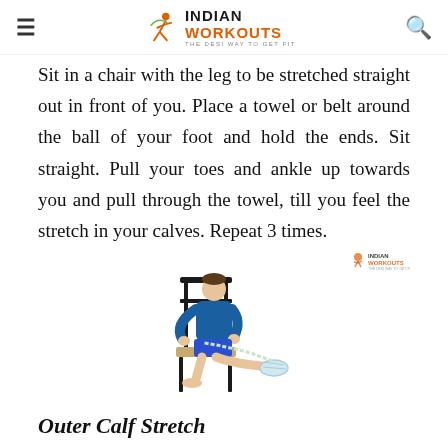Indian Workouts — THE DESI WAY TO GET FIT
Sit in a chair with the leg to be stretched straight out in front of you. Place a towel or belt around the ball of your foot and hold the ends. Sit straight. Pull your toes and ankle up towards you and pull through the towel, till you feel the stretch in your calves. Repeat 3 times.
[Figure (photo): A man sitting on a wooden chair performing a seated calf stretch using a towel wrapped around his foot, with his leg extended forward. He is wearing a blue t-shirt and blue shorts.]
Outer Calf Stretch